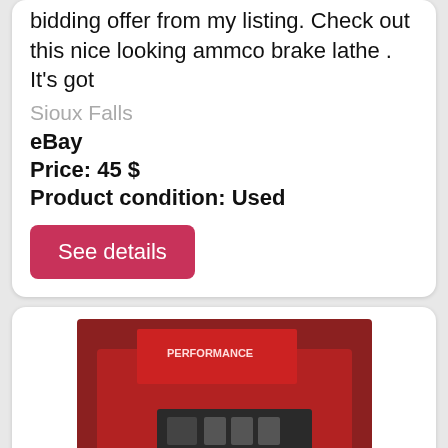bidding offer from my listing. Check out this nice looking ammco brake lathe . It's got
Sioux Falls
eBay
Price: 45 $
Product condition: Used
See details
[Figure (photo): Photo of a used Performance Brake Lathe machine, showing red-painted industrial equipment with control panels and mechanical components.]
Used, The Performance Brake Lathe Machine For Both...